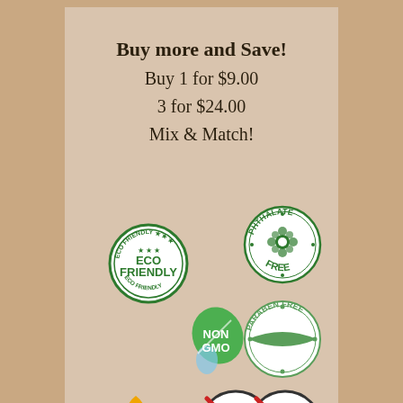Buy more and Save!
Buy 1 for $9.00
3 for $24.00
Mix & Match!
[Figure (logo): Eco Friendly green stamp badge]
[Figure (logo): Phthalate Free green circular badge with flower]
[Figure (logo): Non GMO green leaf badge]
[Figure (logo): Paraben Free green circular badge]
[Figure (logo): Gold flame/fire icon]
[Figure (logo): Baking crossed-out circular badge]
[Figure (logo): Aluminum crossed-out circular badge]